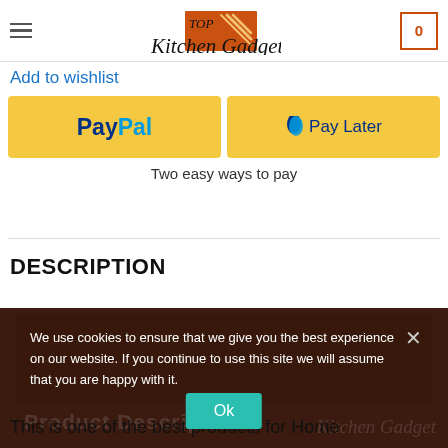[Figure (logo): Top Kitchen Gadget logo with shopping cart icon and hamburger menu]
Add to wishlist
[Figure (other): PayPal and Pay Later payment buttons on yellow background]
Two easy ways to pay
DESCRIPTION
We use cookies to ensure that we give you the best experience on our website. If you continue to use this site we will assume that you are happy with it.
Ok
This is one of the best products for Home